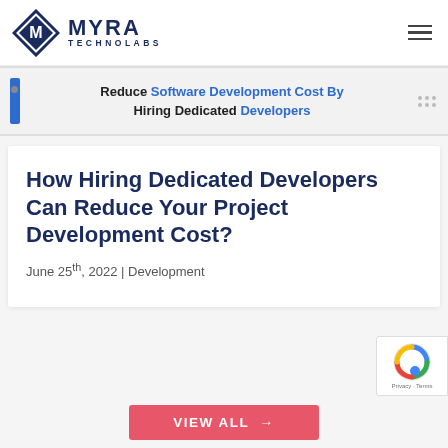MYRA TECHNOLABS
[Figure (infographic): Banner ad: Reduce Software Development Cost By Hiring Dedicated Developers]
How Hiring Dedicated Developers Can Reduce Your Project Development Cost?
June 25th, 2022 | Development
VIEW ALL →